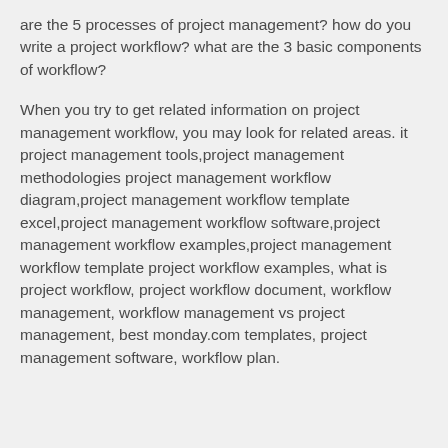are the 5 processes of project management? how do you write a project workflow? what are the 3 basic components of workflow?
When you try to get related information on project management workflow, you may look for related areas. it project management tools,project management methodologies project management workflow diagram,project management workflow template excel,project management workflow software,project management workflow examples,project management workflow template project workflow examples, what is project workflow, project workflow document, workflow management, workflow management vs project management, best monday.com templates, project management software, workflow plan.